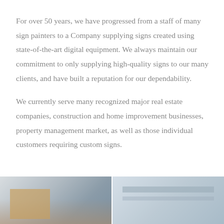For over 50 years, we have progressed from a staff of many sign painters to a Company supplying signs created using state-of-the-art digital equipment. We always maintain our commitment to only supplying high-quality signs to our many clients, and have built a reputation for our dependability.
We currently serve many recognized major real estate companies, construction and home improvement businesses, property management market, as well as those individual customers requiring custom signs.
[Figure (photo): Two side-by-side photos at the bottom of the page showing signage or building exteriors, partially cropped]